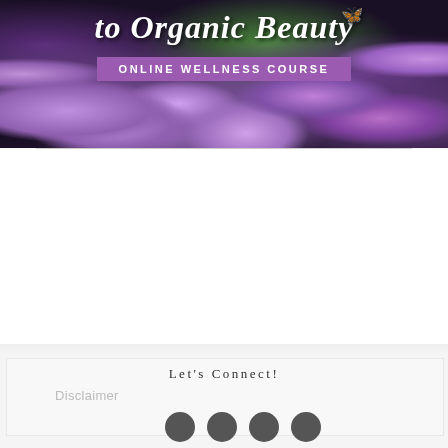[Figure (illustration): Banner image with purple floral background (daisies/wildflowers) and a butterfly, overlaid with italic white text 'to Organic Beauty' and a purple badge reading 'ONLINE WELLNESS COURSE']
to Organic Beauty
ONLINE WELLNESS COURSE
Let's Connect!
Disclaimer